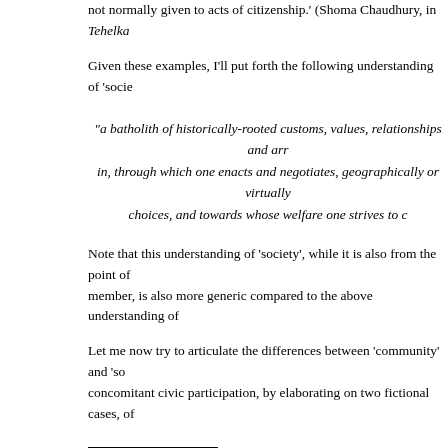not normally given to acts of citizenship.' (Shoma Chaudhury, in Tehelka...
Given these examples, I'll put forth the following understanding of 'socie...
"a batholith of historically-rooted customs, values, relationships and arra... in, through which one enacts and negotiates, geographically or virtually... choices, and towards whose welfare one strives to c...
Note that this understanding of 'society', while it is also from the point of... member, is also more generic compared to the above understanding of...
Let me now try to articulate the differences between 'community' and 'so... concomitant civic participation, by elaborating on two fictional cases, of...
Caveats, and a Perspectiver
I don't mean to suggest that "community" is a sociological construct app... "society" is one applied to India only. Far from it. I just want to suggest a... the use of "community" (as understood above) in various American and... and the use of "society" (as understood above) in various Indian and ge... the suggestion that the West-East division is not...